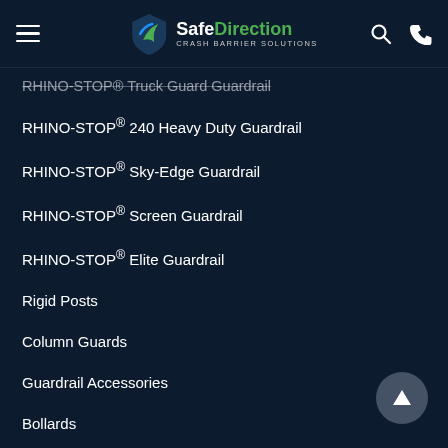SafeDirection CRASH BARRIER SOLUTIONS
RHINO-STOP® Truck Guard Guardrail
RHINO-STOP® 240 Heavy Duty Guardrail
RHINO-STOP® Sky-Edge Guardrail
RHINO-STOP® Screen Guardrail
RHINO-STOP® Elite Guardrail
Rigid Posts
Column Guards
Guardrail Accessories
Bollards
FENCING
RHINO-STOP® Elite